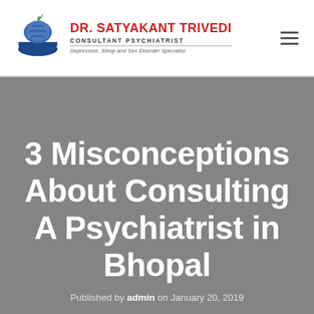[Figure (logo): Dr. Satyakant Trivedi logo with brain/mortar icon, red name text, Consultant Psychiatrist subtitle, Depression Sleep and Sex Disorder Specialist tagline]
3 Misconceptions About Consulting A Psychiatrist in Bhopal
Published by admin on January 20, 2019